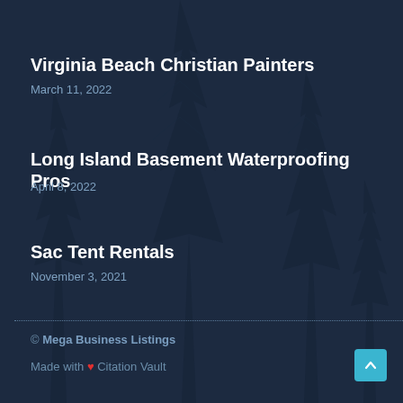Virginia Beach Christian Painters
March 11, 2022
Long Island Basement Waterproofing Pros
April 8, 2022
Sac Tent Rentals
November 3, 2021
© Mega Business Listings
Made with ❤ Citation Vault